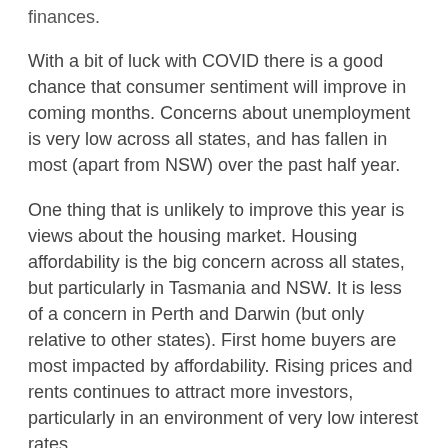finances.
With a bit of luck with COVID there is a good chance that consumer sentiment will improve in coming months. Concerns about unemployment is very low across all states, and has fallen in most (apart from NSW) over the past half year.
One thing that is unlikely to improve this year is views about the housing market. Housing affordability is the big concern across all states, but particularly in Tasmania and NSW. It is less of a concern in Perth and Darwin (but only relative to other states). First home buyers are most impacted by affordability. Rising prices and rents continues to attract more investors, particularly in an environment of very low interest rates.
By and large the surveys confirm what we know. The economy slowed in January and rising prices are starting